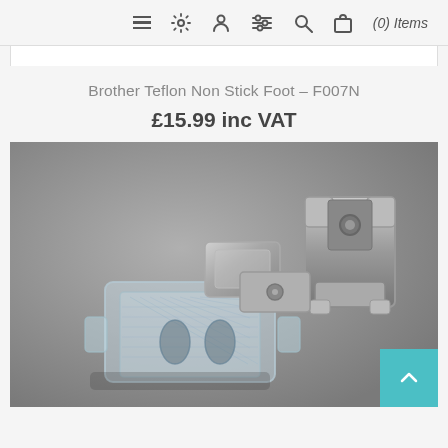≡ ⚙ 👤 ⊞ 🔍 🛍 (0) Items
Brother Teflon Non Stick Foot – F007N
£15.99 inc VAT
[Figure (photo): A Brother Teflon Non Stick sewing machine foot (F007N). The presser foot has a transparent/clear plastic bottom section with a textured grid pattern and two oval slots visible underneath. A metallic silver clamp/shank assembly is attached at the top right. The background is a medium grey surface.]